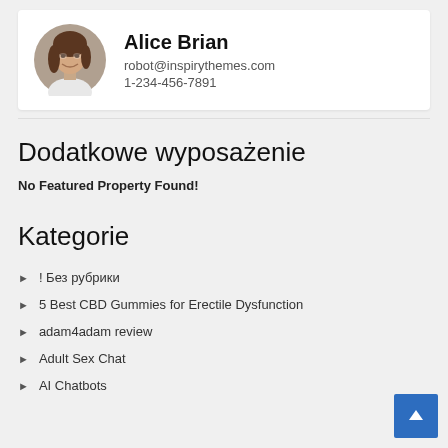[Figure (photo): Circular profile photo of a woman with brown hair smiling, wearing a white top]
Alice Brian
robot@inspirythemes.com
1-234-456-7891
Dodatkowe wyposażenie
No Featured Property Found!
Kategorie
! Без рубрики
5 Best CBD Gummies for Erectile Dysfunction
adam4adam review
Adult Sex Chat
AI Chatbots